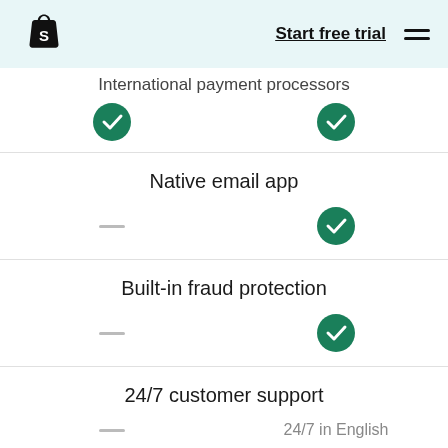Shopify — Start free trial
International payment processors
Native email app
Built-in fraud protection
24/7 customer support
24/7 in English